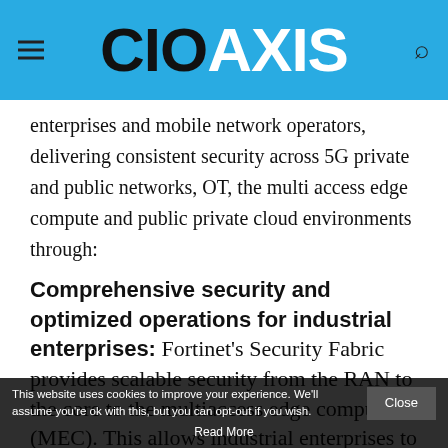CIOAXIS
enterprises and mobile network operators, delivering consistent security across 5G private and public networks, OT, the multi access edge compute and public private cloud environments through:
Comprehensive security and optimized operations for industrial enterprises: Fortinet's Security Fabric provides scalable security from the RAN to the core to the multiaccess edge compute (MEC). This allows industrial enterprises to achieve digital
This website uses cookies to improve your experience. We'll assume you're ok with this, but you can opt-out if you wish.